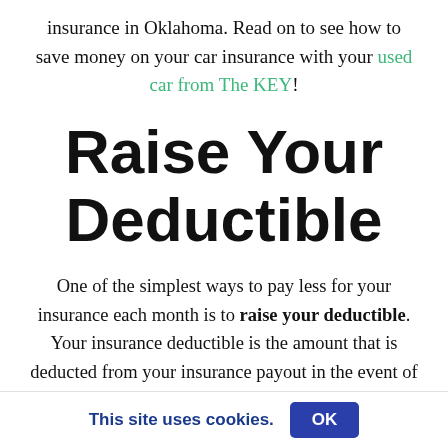insurance in Oklahoma. Read on to see how to save money on your car insurance with your used car from The KEY!
Raise Your Deductible
One of the simplest ways to pay less for your insurance each month is to raise your deductible. Your insurance deductible is the amount that is deducted from your insurance payout in the event of an accident. If you raise your deductible, you will
This site uses cookies.